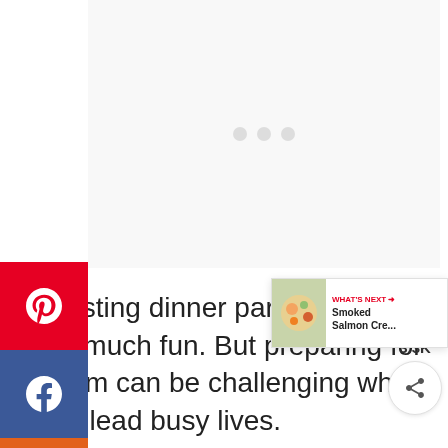[Figure (other): Advertisement placeholder area with three small grey dots indicating loading]
[Figure (infographic): Social share sidebar with Pinterest (red), Facebook (dark blue), Yummly (orange), Twitter (light blue), and Email (green) buttons]
[Figure (infographic): Floating like/share widget on right side showing heart icon button (red circle), 3.3K count, and share button]
[Figure (infographic): What's Next banner in bottom right showing food image and text: WHAT'S NEXT → Smoked Salmon Cre...]
Hosting dinner parties can be so much fun. But preparing for them can be challenging when we lead busy lives.